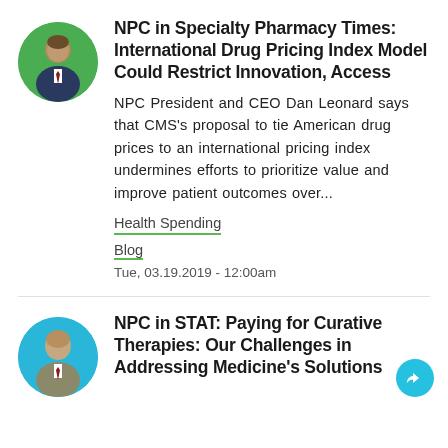[Figure (photo): Circular avatar photo of a man in a suit with green circular border]
NPC in Specialty Pharmacy Times: International Drug Pricing Index Model Could Restrict Innovation, Access
NPC President and CEO Dan Leonard says that CMS's proposal to tie American drug prices to an international pricing index undermines efforts to prioritize value and improve patient outcomes over...
Health Spending
Blog
Tue, 03.19.2019 - 12:00am
[Figure (photo): Circular avatar photo of a bald man in a suit with teal circular border]
NPC in STAT: Paying for Curative Therapies: Our Challenges in Addressing Medicine's Solutions